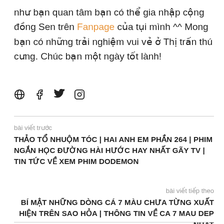như bạn quan tâm bạn có thể gia nhập cộng đồng Sen trên Fanpage của tụi mình ^^ Mong bạn có những trải nghiệm vui vẻ ở Thị trấn thú cưng. Chúc bạn một ngày tốt lành!
[Figure (illustration): Social media icons: globe, facebook, twitter, instagram]
bài viết trước
THẢO TỔ NHUỘM TÓC | HAI ANH EM PHẦN 264 | PHIM NGẮN HỌC ĐƯỜNG HÀI HƯỚC HAY NHẤT GÃY TV | TIN TỨC VỀ XEM PHIM DODEMON
bài viết tiếp theo
BÍ MẬT NHỮNG DÒNG CÁ 7 MÀU CHƯA TỪNG XUẤT HIỆN TRÊN SAO HỎA | THÔNG TIN VỀ CA 7 MAU DEP NHAT